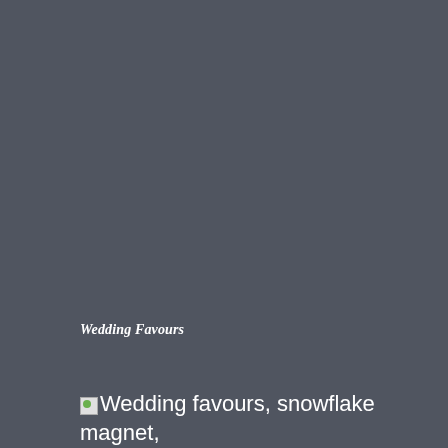Wedding Favours
[Figure (photo): Broken image placeholder with alt text: Wedding favours, snowflake magnet, chocolate hearts, and some lavender]